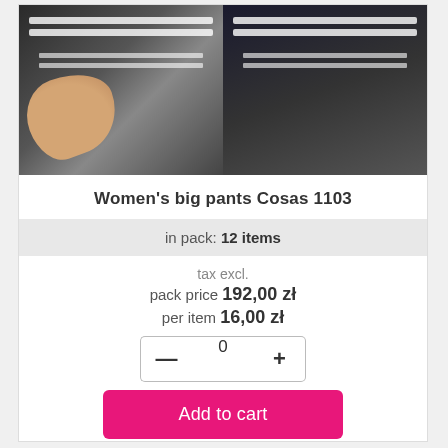[Figure (photo): Product photo of women's big pants (Cosas 1103) — dark navy/grey pants with white stripes, shown folded and held by hand on left side and laid flat on right side]
Women's big pants Cosas 1103
in pack: 12 items
tax excl.
pack price 192,00 zł
per item 16,00 zł